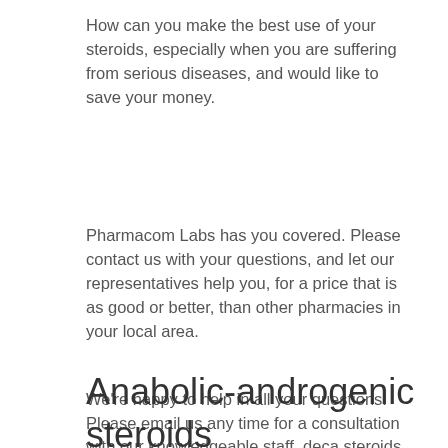How can you make the best use of your steroids, especially when you are suffering from serious diseases, and would like to save your money.
Pharmacom Labs has you covered. Please contact us with your questions, and let our representatives help you, for a price that is as good or better, than other pharmacies in your local area.
We're happy to help in all your questions. Please email us any time for a consultation with our knowledgeable staff, deca steroids injection!
Anabolic-androgenic steroids procurement and administration practices of